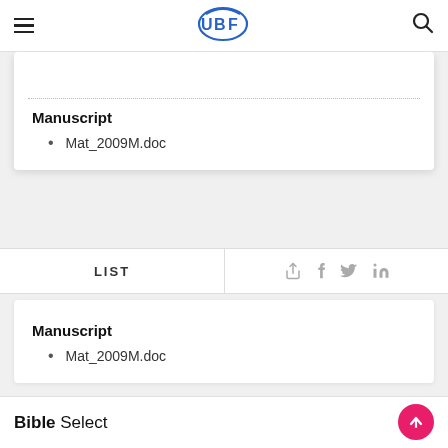UBF navigation bar with hamburger menu, UBF logo, and search icon
Manuscript
Mat_2009M.doc
LIST
Manuscript
Mat_2009M.doc
Bible Select